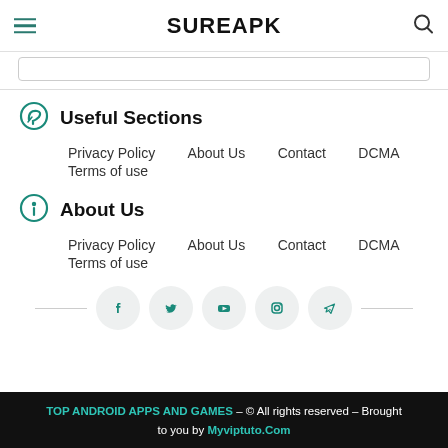SUREAPK
Useful Sections
Privacy Policy   About Us   Contact   DCMA   Terms of use
About Us
Privacy Policy   About Us   Contact   DCMA   Terms of use
[Figure (infographic): Social media icons row: Facebook, Twitter, YouTube, Instagram, Telegram]
TOP ANDROID APPS AND GAMES – © All rights reserved – Brought to you by Myviptuto.Com